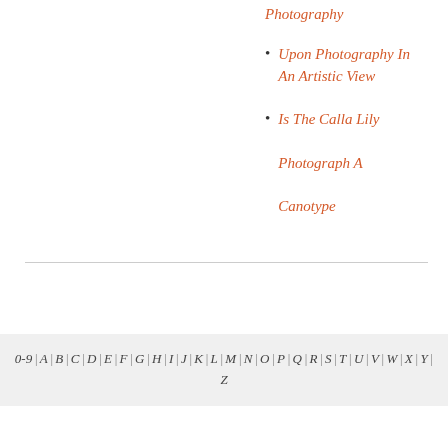Photography
Upon Photography In An Artistic View
Is The Calla Lily Photograph A Canotype
0-9 | A | B | C | D | E | F | G | H | I | J | K | L | M | N | O | P | Q | R | S | T | U | V | W | X | Y | Z